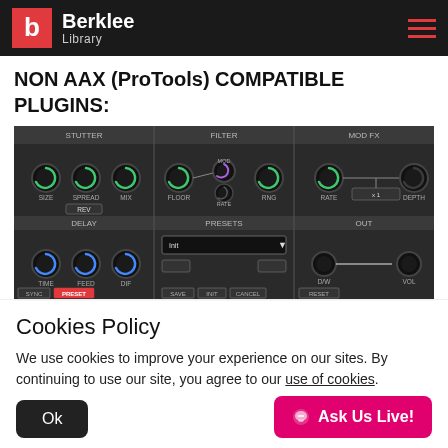Berklee Library
NON AAX (ProTools) COMPATIBLE PLUGINS:
[Figure (screenshot): Screenshot of an audio plugin interface showing STUTTER, FILTER, MOD FX, DELAY, PRESETS, and OUT sections with various knobs and controls on a dark background.]
Cookies Policy
We use cookies to improve your experience on our sites. By continuing to use our site, you agree to our use of cookies.
Ok
Ask Us Live!